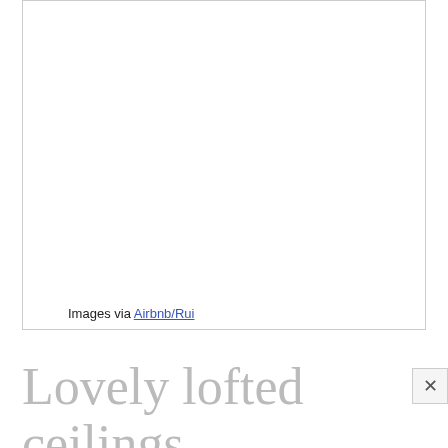[Figure (photo): Large white rectangular image box with border, appearing to be a placeholder for a photo]
Images via Airbnb/Rui
Lovely lofted ceilings